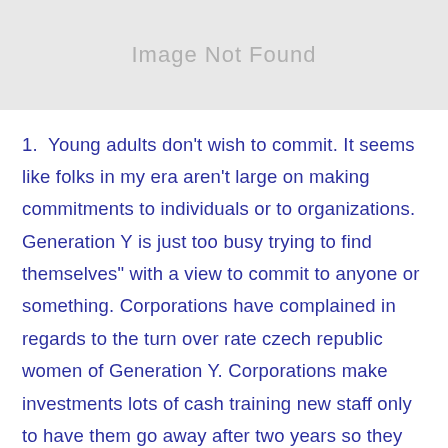[Figure (photo): Image not found placeholder — grey rectangle]
1.  Young adults don't wish to commit. It seems like folks in my era aren't large on making commitments to individuals or to organizations. Generation Y is just too busy trying to find themselves" with a view to commit to anyone or something. Corporations have complained in regards to the turn over rate czech republic women of Generation Y. Corporations make investments lots of cash training new staff only to have them go away after two years so they